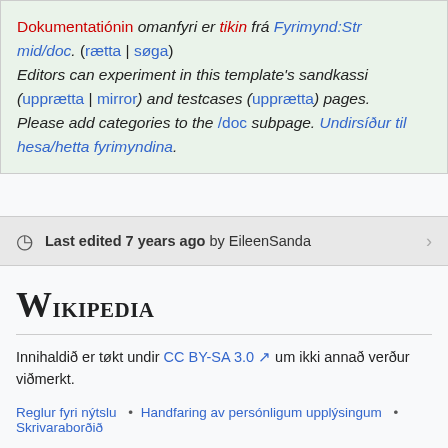Dokumentatiónin omanfyri er tikin frá Fyrimynd:Strmid/doc. (rætta | søga) Editors can experiment in this template's sandkassi (upprætta | mirror) and testcases (upprætta) pages. Please add categories to the /doc subpage. Undirsíður til hesa/hetta fyrimyndina.
Last edited 7 years ago by EileenSanda
[Figure (logo): Wikipedia wordmark in small-caps serif font]
Innihaldið er tøkt undir CC BY-SA 3.0 um ikki annað verður viðmerkt.
Reglur fyri nýtslu • Handfaring av persónligum upplýsingum • Skrivaraborðið